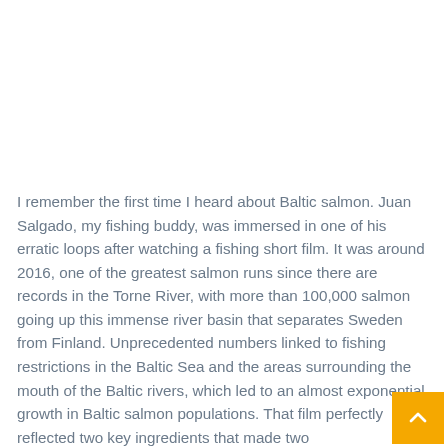I remember the first time I heard about Baltic salmon. Juan Salgado, my fishing buddy, was immersed in one of his erratic loops after watching a fishing short film. It was around 2016, one of the greatest salmon runs since there are records in the Torne River, with more than 100,000 salmon going up this immense river basin that separates Sweden from Finland. Unprecedented numbers linked to fishing restrictions in the Baltic Sea and the areas surrounding the mouth of the Baltic rivers, which led to an almost exponential growth in Baltic salmon populations. That film perfectly reflected two key ingredients that made two